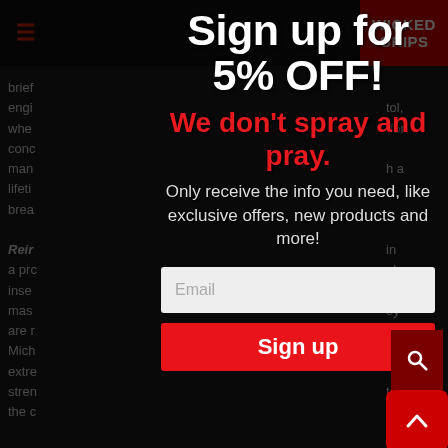≡  WICKED GRIPS
brief engi... tol, whe... for conc... man... h a lifeti... brea...
Rein... in a pro... el inse... e mas... ey are n... Mich... is extre... stren... to the c...
Sign up for 5% OFF!
We don't spray and pray.
Only receive the info you need, like exclusive offers, new products and more!
Email
Sign up